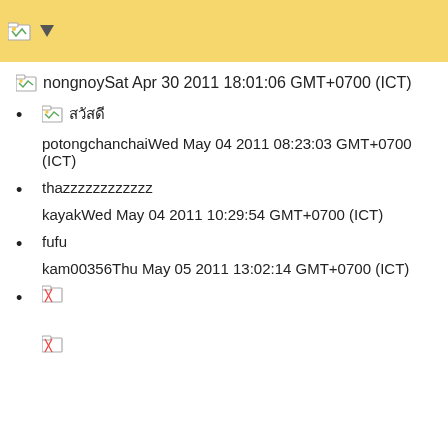nongnoySat Apr 30 2011 18:01:06 GMT+0700 (ICT)
Thai text (broken image)
potongchanchaiWed May 04 2011 08:23:03 GMT+0700 (ICT)
thazzzzzzzzzzzz
kayakWed May 04 2011 10:29:54 GMT+0700 (ICT)
fufu
kam00356Thu May 05 2011 13:02:14 GMT+0700 (ICT)
(broken image)
(broken image)